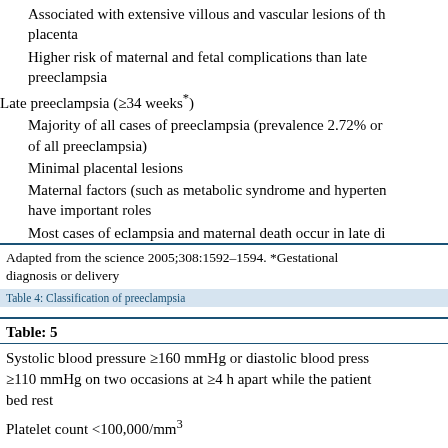Associated with extensive villous and vascular lesions of the placenta
Higher risk of maternal and fetal complications than late preeclampsia
Late preeclampsia (≥34 weeks*)
Majority of all cases of preeclampsia (prevalence 2.72% or of all preeclampsia)
Minimal placental lesions
Maternal factors (such as metabolic syndrome and hypertension) have important roles
Most cases of eclampsia and maternal death occur in late disease
Adapted from the science 2005;308:1592–1594. *Gestational age at diagnosis or delivery
Table 4: Classification of preeclampsia
Table: 5
Systolic blood pressure ≥160 mmHg or diastolic blood pressure ≥110 mmHg on two occasions at ≥4 h apart while the patient is on bed rest
Platelet count <100,000/mm³